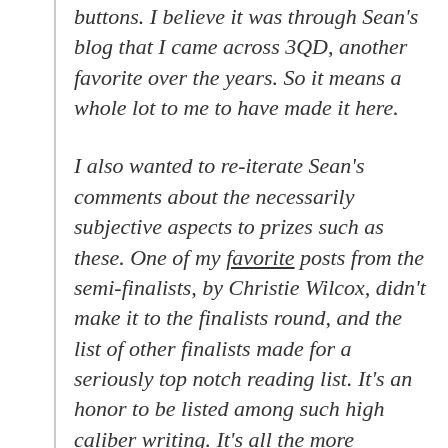buttons. I believe it was through Sean's blog that I came across 3QD, another favorite over the years. So it means a whole lot to me to have made it here.
I also wanted to re-iterate Sean's comments about the necessarily subjective aspects to prizes such as these. One of my favorite posts from the semi-finalists, by Christie Wilcox, didn't make it to the finalists round, and the list of other finalists made for a seriously top notch reading list. It's an honor to be listed among such high caliber writing. It's all the more impressive when you realize how